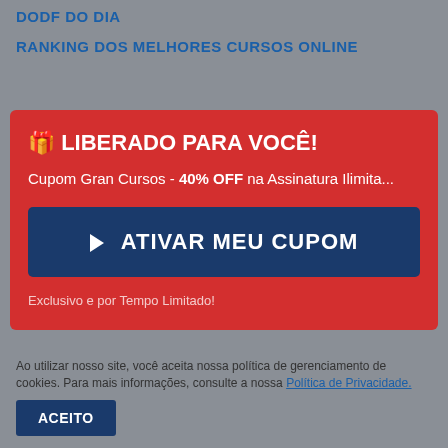DODF DO DIA
RANKING DOS MELHORES CURSOS ONLINE
CUPOM GRAN CURSOS
🎁 LIBERADO PARA VOCÊ!
Cupom Gran Cursos - 40% OFF na Assinatura Ilimita...
► ATIVAR MEU CUPOM
Exclusivo e por Tempo Limitado!
Ao utilizar nosso site, você aceita nossa política de gerenciamento de cookies. Para mais informações, consulte a nossa Política de Privacidade.
ACEITO